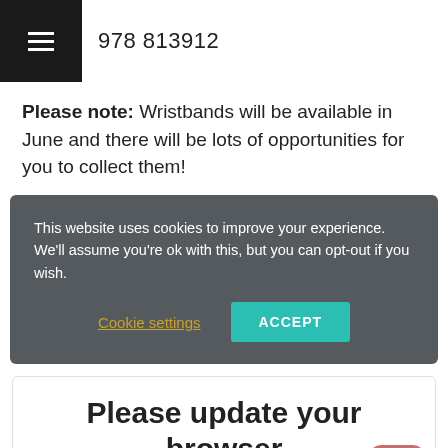978 813912
Please note: Wristbands will be available in June and there will be lots of opportunities for you to collect them!
This website uses cookies to improve your experience. We'll assume you're ok with this, but you can opt-out if you wish. Cookie settings ACCEPT
Please update your browser
It seems you are using an old or unsupported